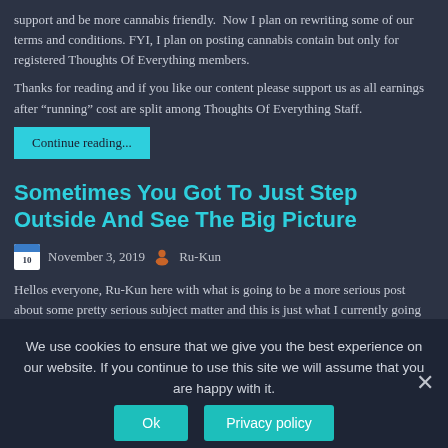support and be more cannabis friendly.  Now I plan on rewriting some of our terms and conditions. FYI, I plan on posting cannabis contain but only for registered Thoughts Of Everything members.
Thanks for reading and if you like our content please support us as all earnings after “running” cost are split among Thoughts Of Everything Staff.
Continue reading...
Sometimes You Got To Just Step Outside And See The Big Picture
November 3, 2019   Ru-Kun
Hellos everyone, Ru-Kun here with what is going to be a more serious post about some pretty serious subject matter and this is just what I currently going through. First, I want to say this issue or situation has being going on for over a year since
We use cookies to ensure that we give you the best experience on our website. If you continue to use this site we will assume that you are happy with it.
Ok
Privacy policy